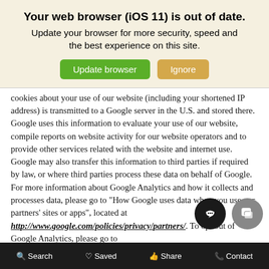Your web browser (iOS 11) is out of date.
Update your browser for more security, speed and the best experience on this site.
cookies about your use of our website (including your shortened IP address) is transmitted to a Google server in the U.S. and stored there. Google uses this information to evaluate your use of our website, compile reports on website activity for our website operators and to provide other services related with the website and internet use. Google may also transfer this information to third parties if required by law, or where third parties process these data on behalf of Google. For more information about Google Analytics and how it collects and processes data, please go to "How Google uses data when you use our partners' sites or apps", located at http://www.google.com/policies/privacy/partners/. To opt out of Google Analytics, please go to https://tools.google.com/dlpage/gaoptout
To help us manage our advertising and website, Google offers many
Search   Saved   Share   Contact